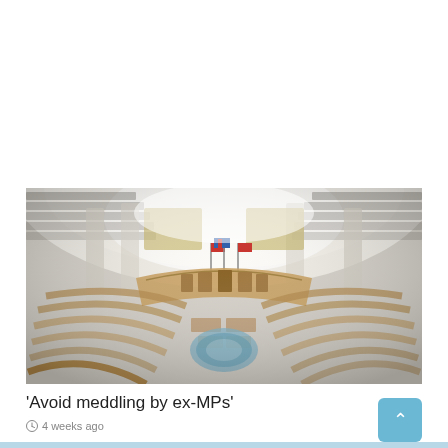[Figure (photo): Wide-angle fisheye view of a parliament chamber with semicircular seating tiers, a central wooden dais with flags, and a circular emblem on the floor. The chamber appears to be the Kuwaiti National Assembly.]
'Avoid meddling by ex-MPs'
4 weeks ago